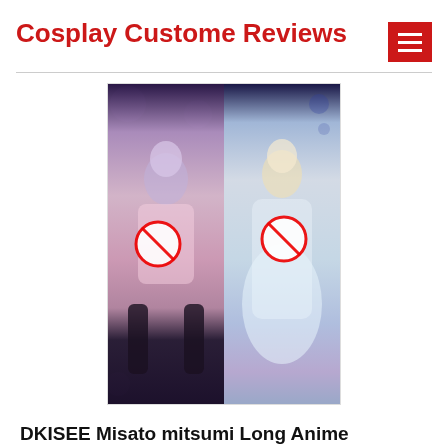Cosplay Custome Reviews
[Figure (illustration): Two anime character illustrations side by side on a product listing image, each censored with a no-symbol circle. Left character has blue/purple hair, right character has blonde hair. Both full-body dakimakura pillow cover designs.]
DKISEE Misato mitsumi Long Anime Hugging Body 2 Way Tricot Japanese Pillowcases – F04634